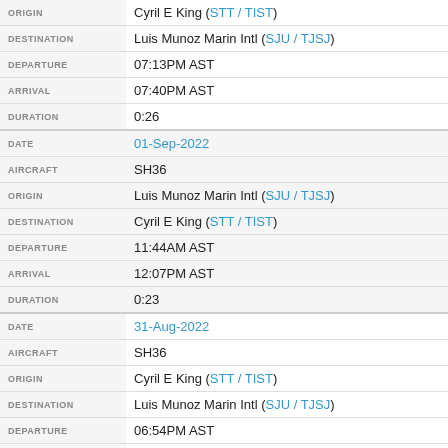| Field | Value |
| --- | --- |
| ORIGIN | Cyril E King (STT / TIST) |
| DESTINATION | Luis Munoz Marin Intl (SJU / TJSJ) |
| DEPARTURE | 07:13PM AST |
| ARRIVAL | 07:40PM AST |
| DURATION | 0:26 |
| DATE | 01-Sep-2022 |
| AIRCRAFT | SH36 |
| ORIGIN | Luis Munoz Marin Intl (SJU / TJSJ) |
| DESTINATION | Cyril E King (STT / TIST) |
| DEPARTURE | 11:44AM AST |
| ARRIVAL | 12:07PM AST |
| DURATION | 0:23 |
| DATE | 31-Aug-2022 |
| AIRCRAFT | SH36 |
| ORIGIN | Cyril E King (STT / TIST) |
| DESTINATION | Luis Munoz Marin Intl (SJU / TJSJ) |
| DEPARTURE | 06:54PM AST |
| ARRIVAL | 07:19PM AST |
| DURATION | 0:24 |
| DATE | 31-Aug-2022 |